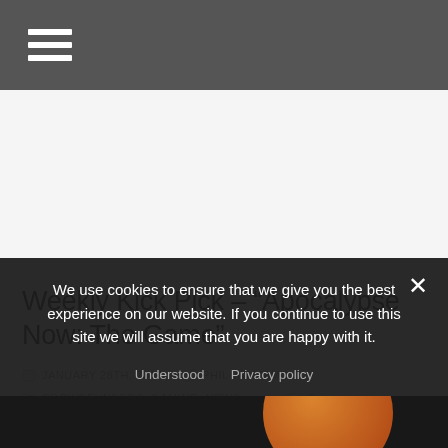Navigation menu (hamburger icon)
Weekly Kick Pick – “Apocalypse Now: The Game”
JANUARY 28TH, 2017  PHIL WILLIAMS  CROWDFUNDERS, GAMING, NEWS  0 COMMENTS
We use cookies to ensure that we give you the best experience on our website. If you continue to use this site we will assume that you are happy with it.
Understood  Privacy policy